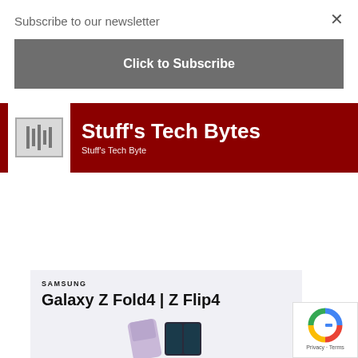Subscribe to our newsletter
×
Click to Subscribe
[Figure (screenshot): Stuff's Tech Bytes banner with dark red background, media player icon on white square, white bold text 'Stuff's Tech Bytes' and subtitle 'Stuff's Tech Byte']
[Figure (screenshot): Samsung advertisement showing SAMSUNG brand name, Galaxy Z Fold4 | Z Flip4 model text, and partial phone images on light purple/grey background]
[Figure (logo): Google reCAPTCHA badge with blue/red/green/yellow G logo, Privacy and Terms links]